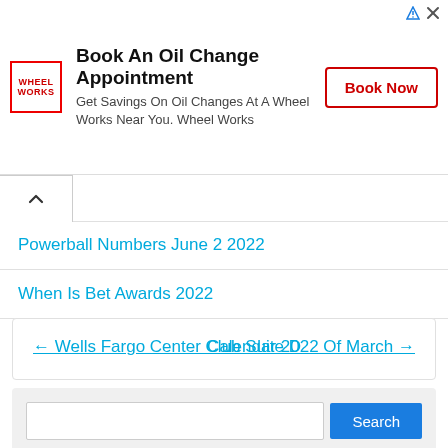[Figure (other): Wheel Works advertisement banner with logo, headline 'Book An Oil Change Appointment', subtext, and 'Book Now' button]
Powerball Numbers June 2 2022
When Is Bet Awards 2022
← Wells Fargo Center Club Suite D   Calendar 2022 Of March →
Search